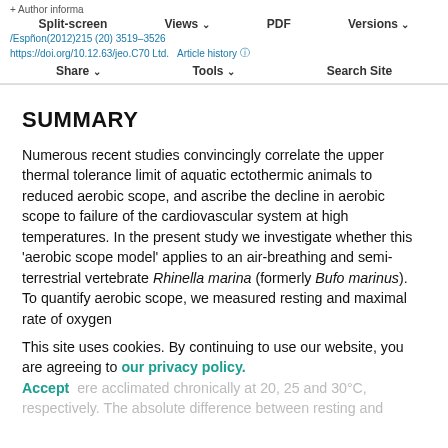+ Author information /Espñon(2012)215 (20) 3519–3526 https://doi.org/10.12.63/jeo.C70 Ltd. Article history Split-screen Views PDF Versions Share Tools Search Site
SUMMARY
Numerous recent studies convincingly correlate the upper thermal tolerance limit of aquatic ectothermic animals to reduced aerobic scope, and ascribe the decline in aerobic scope to failure of the cardiovascular system at high temperatures. In the present study we investigate whether this 'aerobic scope model' applies to an air-breathing and semi-terrestrial vertebrate Rhinella marina (formerly Bufo marinus). To quantify aerobic scope, we measured resting and maximal rate of oxygen
This site uses cookies. By continuing to use our website, you are agreeing to our privacy policy. Accept [faded: ...to 40°C. To ...groups of ...ere acclimated chronically at 20, 25 and 30°C, respectively. The absolute difference between resting and]